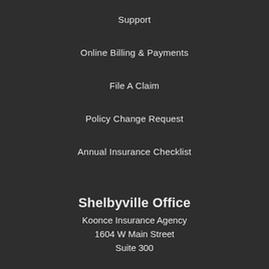Support
Online Billing & Payments
File A Claim
Policy Change Request
Annual Insurance Checklist
Shelbyville Office
Koonce Insurance Agency
1604 W Main Street
Suite 300